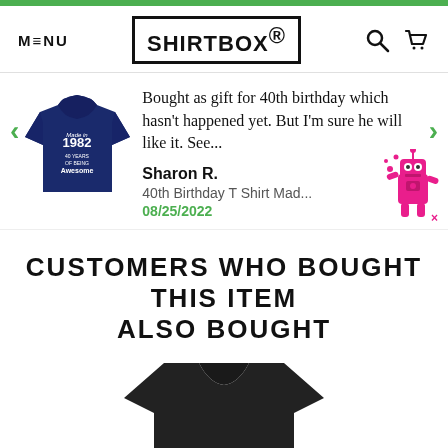MENU | SHIRTBOX® | [search icon] [cart icon]
Bought as gift for 40th birthday which hasn't happened yet. But I'm sure he will like it. See...
Sharon R.
40th Birthday T Shirt Mad...
08/25/2022
CUSTOMERS WHO BOUGHT THIS ITEM ALSO BOUGHT
[Figure (photo): Navy blue t-shirt with 'Made in 1982, 40 Years of Being Awesome' text design]
[Figure (photo): Black t-shirt partially visible at bottom of page]
[Figure (illustration): Pink robot mascot character]